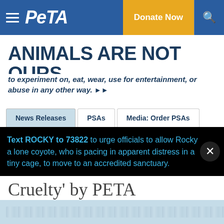PETA — Donate Now
ANIMALS ARE NOT OURS
to experiment on, eat, wear, use for entertainment, or abuse in any other way. ▶▶
News Releases | PSAs | Media: Order PSAs
Urban Outfitters Brands' Stores Will Be 'Closed for Cruelty' by PETA
Text ROCKY to 73822 to urge officials to allow Rocky a lone coyote, who is pacing in apparent distress in a tiny cage, to move to an accredited sanctuary.